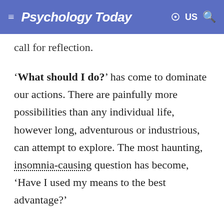Psychology Today  US
call for reflection.
'What should I do?' has come to dominate our actions. There are painfully more possibilities than any individual life, however long, adventurous or industrious, can attempt to explore. The most haunting, insomnia-causing question has become, 'Have I used my means to the best advantage?'
One of the consequences of this haunting uncertainty is that 'shopping' has extended beyond buying stuff to become the very activity of life itself. 'Shopping is no longer just about food, shoes, cars or furniture. The avid, never-ending search for new and improved examples and